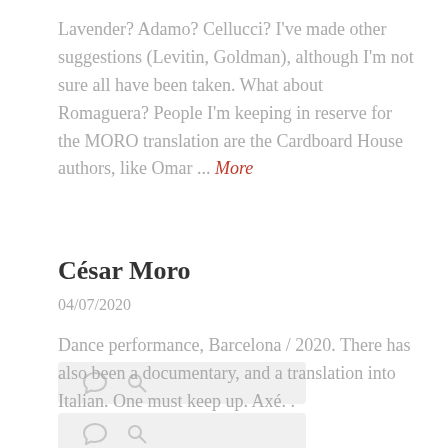Lavender? Adamo? Cellucci? I've made other suggestions (Levitin, Goldman), although I'm not sure all have been taken. What about Romaguera? People I'm keeping in reserve for the MORO translation are the Cardboard House authors, like Omar ... More
[Figure (other): Icon bar with comment and link icons on a light grey background]
César Moro
04/07/2020
Dance performance, Barcelona / 2020. There has also been a documentary, and a translation into Italian. One must keep up. Axé. .
[Figure (other): Icon bar with comment and link icons on a light grey background (partially visible)]